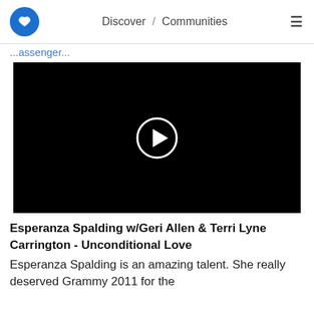Discover / Communities
...assenger...
[Figure (screenshot): Black video thumbnail with white circular play button in center]
Esperanza Spalding w/Geri Allen & Terri Lyne Carrington - Unconditional Love
Esperanza Spalding is an amazing talent. She really deserved Grammy 2011 for the